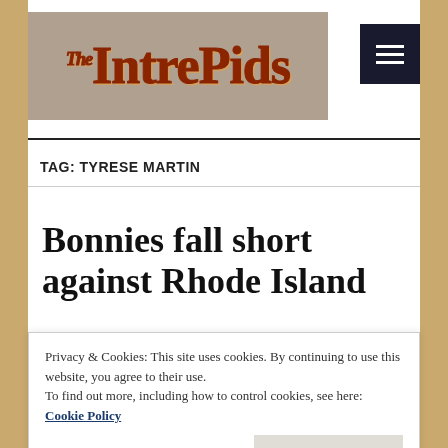[Figure (logo): The Intrepids website logo — stylized text on a tan/brown background]
TAG: TYRESE MARTIN
Bonnies fall short against Rhode Island
Privacy & Cookies: This site uses cookies. By continuing to use this website, you agree to their use.
To find out more, including how to control cookies, see here: Cookie Policy
showed a sold out Reilly Center why he is one of